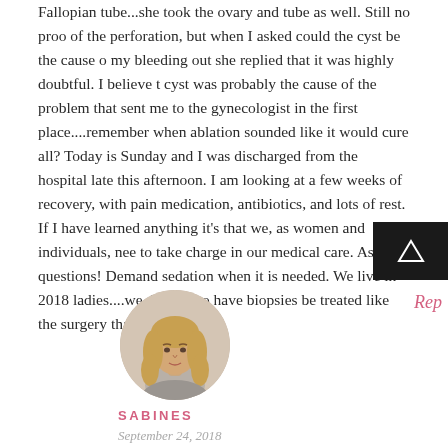Fallopian tube...she took the ovary and tube as well. Still no proof of the perforation, but when I asked could the cyst be the cause of my bleeding out she replied that it was highly doubtful. I believe the cyst was probably the cause of the problem that sent me to the gynecologist in the first place....remember when ablation sounded like it would cure all? Today is Sunday and I was discharged from the hospital late this afternoon. I am looking at a few weeks of recovery, with pain medication, antibiotics, and lots of rest. If I have learned anything it's that we, as women and individuals, need to take charge in our medical care. Ask questions! Demand sedation when it is needed. We live in 2018 ladies....we deserve to have biopsies be treated like the surgery that it is.
[Figure (photo): Circular profile photo of a woman with long blonde hair wearing a grey top, on white background]
Rep
SABINES
September 24, 2018